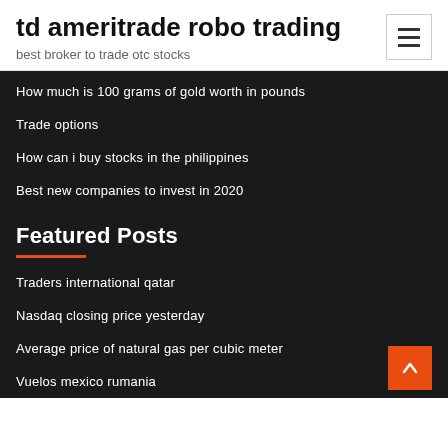td ameritrade robo trading
best broker to trade otc stocks
How much is 100 grams of gold worth in pounds
Trade options
How can i buy stocks in the philippines
Best new companies to invest in 2020
Featured Posts
Traders international qatar
Nasdaq closing price yesterday
Average price of natural gas per cubic meter
Vuelos mexico rumania